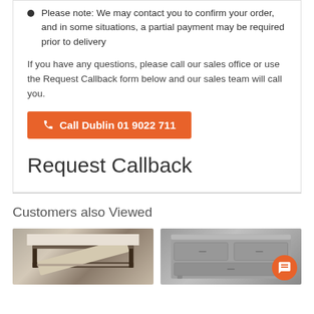Please note: We may contact you to confirm your order, and in some situations, a partial payment may be required prior to delivery
If you have any questions, please call our sales office or use the Request Callback form below and our sales team will call you.
Call Dublin 01 9022 711
Request Callback
Customers also Viewed
[Figure (photo): Photo of a bed frame with storage lift mechanism, shown open at an angle in a bedroom setting]
[Figure (photo): Photo of a grey wooden dresser/chest of drawers with a chat bubble icon overlay]